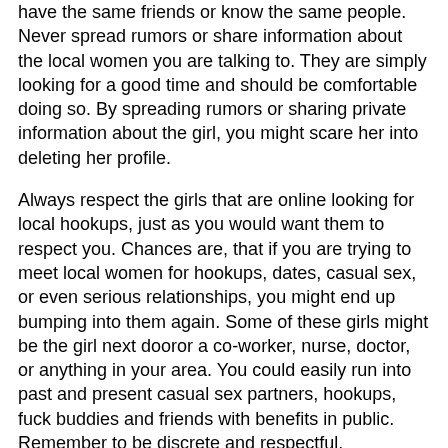have the same friends or know the same people. Never spread rumors or share information about the local women you are talking to. They are simply looking for a good time and should be comfortable doing so. By spreading rumors or sharing private information about the girl, you might scare her into deleting her profile.
Always respect the girls that are online looking for local hookups, just as you would want them to respect you. Chances are, that if you are trying to meet local women for hookups, dates, casual sex, or even serious relationships, you might end up bumping into them again. Some of these girls might be the girl next dooror a co-worker, nurse, doctor, or anything in your area. You could easily run into past and present casual sex partners, hookups, fuck buddies and friends with benefits in public. Remember to be discrete and respectful.
North Miami Beach Babes